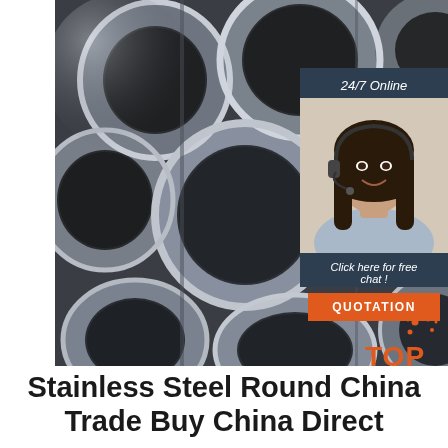[Figure (photo): Stack of stainless steel round pipes/tubes viewed from the ends, showing circular hollow cross-sections, in grey metallic tones.]
[Figure (photo): Customer service representative - woman with headset smiling, overlaid on dark blue chat widget with '24/7 Online' header, 'Click here for free chat!' text, and orange QUOTATION button.]
[Figure (logo): Orange 'TOP' logo with stylized dots in bottom right of image area.]
Stainless Steel Round China Trade Buy China Direct